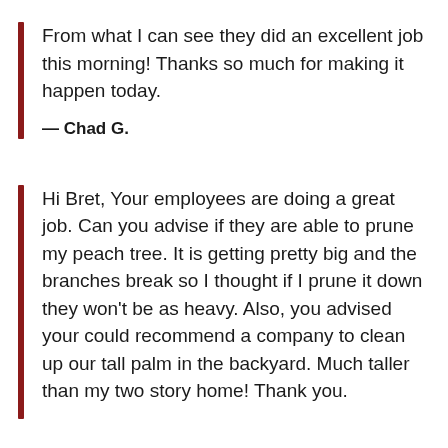From what I can see they did an excellent job this morning! Thanks so much for making it happen today.
— Chad G.
Hi Bret, Your employees are doing a great job. Can you advise if they are able to prune my peach tree. It is getting pretty big and the branches break so I thought if I prune it down they won't be as heavy. Also, you advised your could recommend a company to clean up our tall palm in the backyard. Much taller than my two story home! Thank you.